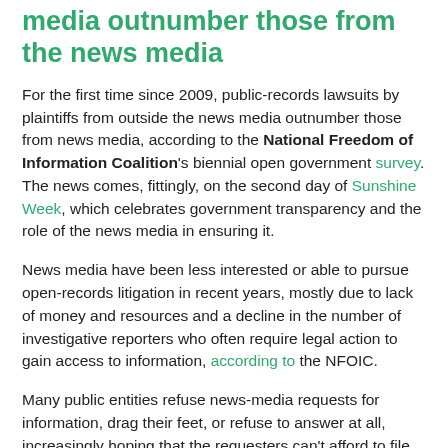media outnumber those from the news media
For the first time since 2009, public-records lawsuits by plaintiffs from outside the news media outnumber those from news media, according to the National Freedom of Information Coalition's biennial open government survey. The news comes, fittingly, on the second day of Sunshine Week, which celebrates government transparency and the role of the news media in ensuring it.
News media have been less interested or able to pursue open-records litigation in recent years, mostly due to lack of money and resources and a decline in the number of investigative reporters who often require legal action to gain access to information, according to the NFOIC.
Many public entities refuse news-media requests for information, drag their feet, or refuse to answer at all, increasingly hoping that the requesters can't afford to file suit. Respondents to the NFOIC survey consistently said that